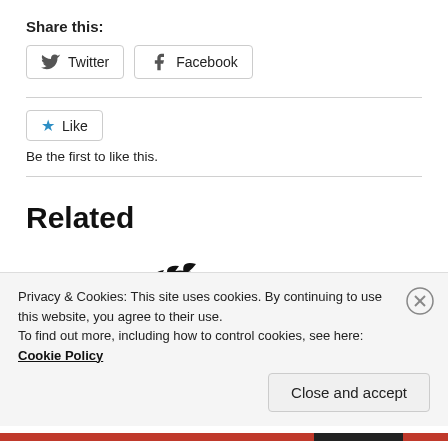Share this:
[Figure (screenshot): Twitter and Facebook share buttons with icons]
[Figure (screenshot): Like button with blue star icon]
Be the first to like this.
Related
[Figure (screenshot): Partial image of stylized text/logo in black, related content preview]
Privacy & Cookies: This site uses cookies. By continuing to use this website, you agree to their use.
To find out more, including how to control cookies, see here: Cookie Policy
Close and accept